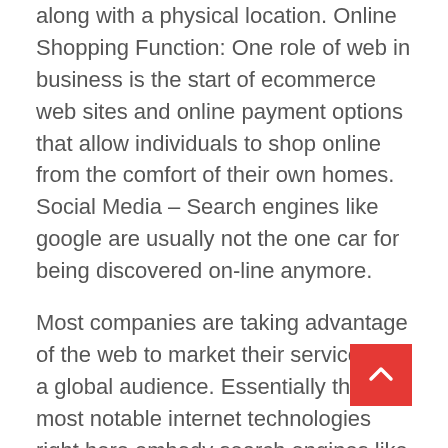along with a physical location. Online Shopping Function: One role of web in business is the start of ecommerce web sites and online payment options that allow individuals to shop online from the comfort of their own homes. Social Media – Search engines like google are usually not the one car for being discovered on-line anymore.
Most companies are taking advantage of the web to market their services to a global audience. Essentially the most notable internet technologies right here embody search engines like google and yahoo corresponding to Google. Other than the associated fee discount by the outsourcing position of internet in business, outsourcing permits businesses to concentrate on their core companies and become environment friendly.